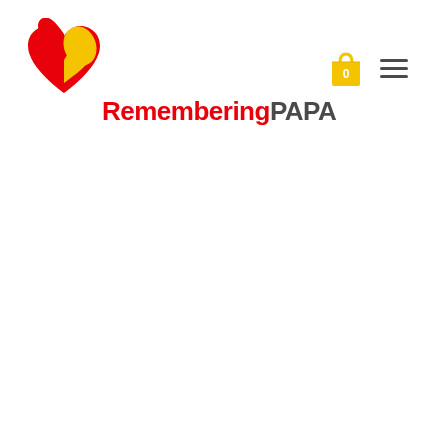[Figure (logo): RememberingPAPA logo with a red and yellow heart icon above the text. 'Remembering' in red bold font, 'PAPA' in dark gray bold font. To the right: a yellow shopping bag icon with '0' label and a hamburger menu icon.]